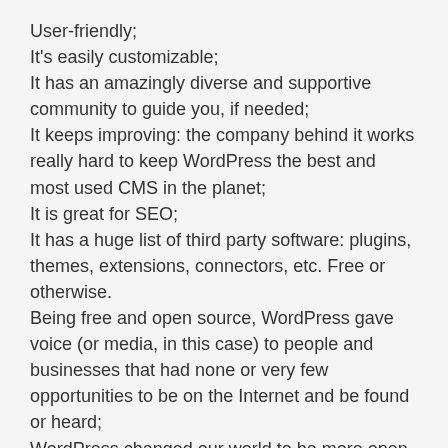User-friendly;
It's easily customizable;
It has an amazingly diverse and supportive community to guide you, if needed;
It keeps improving: the company behind it works really hard to keep WordPress the best and most used CMS in the planet;
It is great for SEO;
It has a huge list of third party software: plugins, themes, extensions, connectors, etc. Free or otherwise.
Being free and open source, WordPress gave voice (or media, in this case) to people and businesses that had none or very few opportunities to be on the Internet and be found or heard;
WordPress changed our world to be more open and inclusive, forever.